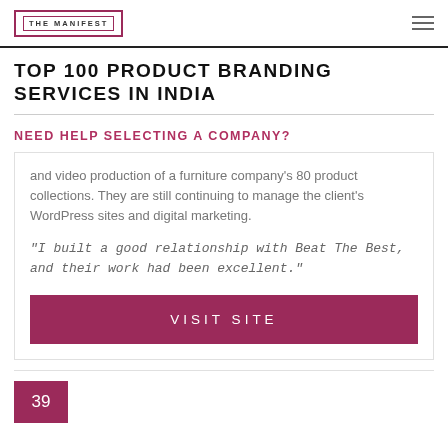THE MANIFEST
TOP 100 PRODUCT BRANDING SERVICES IN INDIA
NEED HELP SELECTING A COMPANY?
and video production of a furniture company's 80 product collections. They are still continuing to manage the client's WordPress sites and digital marketing.
"I built a good relationship with Beat The Best, and their work had been excellent."
VISIT SITE
39